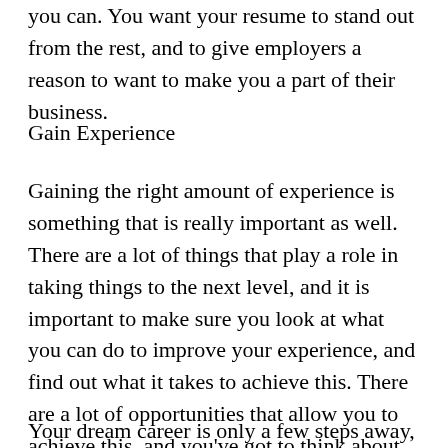you can. You want your resume to stand out from the rest, and to give employers a reason to want to make you a part of their business.
Gain Experience
Gaining the right amount of experience is something that is really important as well. There are a lot of things that play a role in taking things to the next level, and it is important to make sure you look at what you can do to improve your experience, and find out what it takes to achieve this. There are a lot of opportunities that allow you to achieve this, and you’ve got to think about how you can gain the right experience for your dream job path.
Your dream career is only a few steps away, and